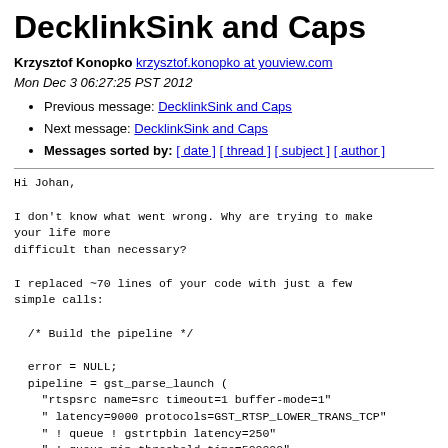DecklinkSink and Caps
Krzysztof Konopko krzysztof.konopko at youview.com
Mon Dec 3 06:27:25 PST 2012
Previous message: DecklinkSink and Caps
Next message: DecklinkSink and Caps
Messages sorted by: [ date ] [ thread ] [ subject ] [ author ]
Hi Johan,

I don't know what went wrong. Why are trying to make
your life more
difficult than necessary?

I replaced ~70 lines of your code with just a few
simple calls:

  /* Build the pipeline */

  error = NULL;
  pipeline = gst_parse_launch (
    "rtspsrc name=src timeout=1 buffer-mode=1"
    " latency=9000 protocols=GST_RTSP_LOWER_TRANS_TCP"
    " ! queue ! gstrtpbin latency=250"
    " ! queue min-threshold-time=500000"